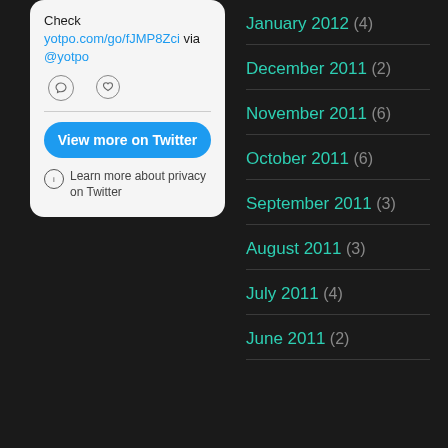[Figure (screenshot): Twitter embedded widget card showing tweet text 'Check yotpo.com/go/fJMP8Zci via @yotpo' with comment and like icons, a blue 'View more on Twitter' button, and a privacy notice.]
January 2012 (4)
December 2011 (2)
November 2011 (6)
October 2011 (6)
September 2011 (3)
August 2011 (3)
July 2011 (4)
June 2011 (2)